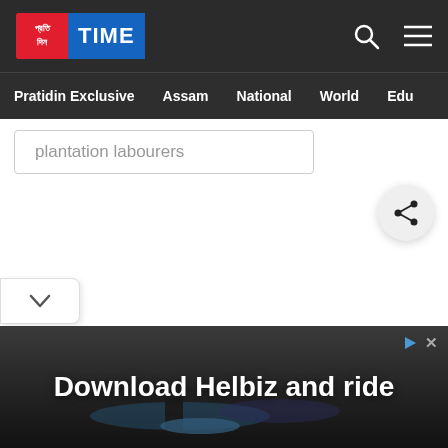Pratidin TIME
Pratidin Exclusive | Assam | National | World | Education
plantation labourers
[Figure (screenshot): Share button icon (social share)]
[Figure (screenshot): Dropdown chevron button]
[Figure (photo): Advertisement banner: Download Helbiz and ride, showing bicycle handlebar]